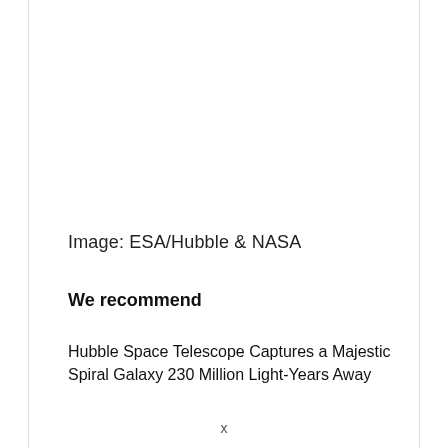Image: ESA/Hubble & NASA
We recommend
Hubble Space Telescope Captures a Majestic Spiral Galaxy 230 Million Light-Years Away